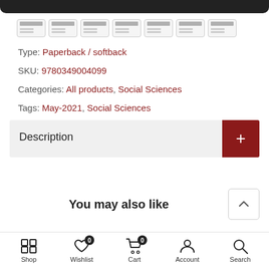[Figure (other): Dark top bar (app header bottom) and row of 7 payment/credit card icons]
Type: Paperback / softback
SKU: 9780349004099
Categories: All products, Social Sciences
Tags: May-2021, Social Sciences
Description
You may also like
Shop  Wishlist  Cart  Account  Search